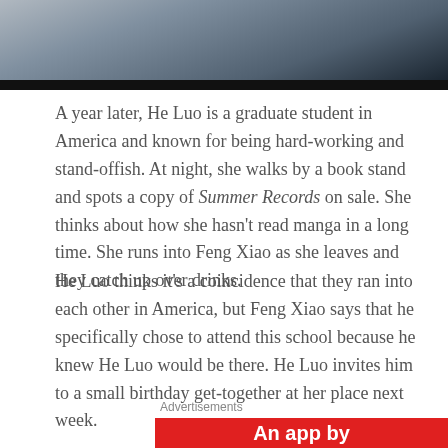[Figure (photo): Partial photo of a person, cropped, dark background at bottom]
A year later, He Luo is a graduate student in America and known for being hard-working and stand-offish. At night, she walks by a book stand and spots a copy of Summer Records on sale. She thinks about how she hasn't read manga in a long time. She runs into Feng Xiao as she leaves and they catch up over drinks.
He Luo thinks it's a coincidence that they ran into each other in America, but Feng Xiao says that he specifically chose to attend this school because he knew He Luo would be there. He Luo invites him to a small birthday get-together at her place next week.
Advertisements
[Figure (other): Red advertisement banner with white bold text reading 'An app by']